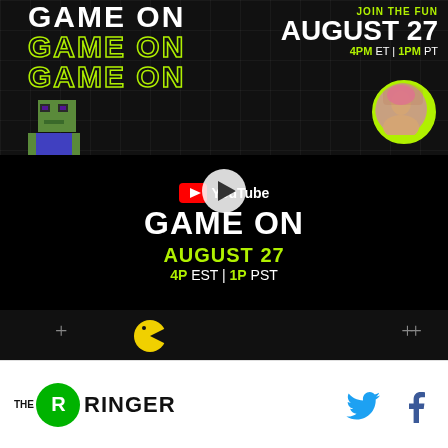[Figure (screenshot): Top banner with dark background and grid lines showing 'GAME ON' text in white and lime green outline, Minecraft zombie character, person portrait circle, and event details: JOIN THE FUN AUGUST 27 4PM ET | 1PM PT]
[Figure (screenshot): YouTube video player thumbnail showing GAME ON AUGUST 27 4P EST | 1P PST with play button]
[Figure (screenshot): Bottom dark bar with plus signs and pac-man character]
[Figure (logo): The Ringer logo with green circle containing R, THE RINGER text, Twitter bird icon and Facebook f icon]